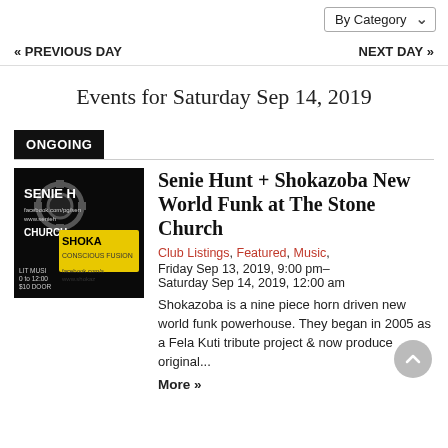By Category
« PREVIOUS DAY   NEXT DAY »
Events for Saturday Sep 14, 2019
ONGOING
[Figure (photo): Promotional image for Senie Hunt and Shokazoba showing band logos on dark background with yellow and black design.]
Senie Hunt + Shokazoba New World Funk at The Stone Church
Club Listings, Featured, Music, Friday Sep 13, 2019, 9:00 pm–Saturday Sep 14, 2019, 12:00 am
Shokazoba is a nine piece horn driven new world funk powerhouse. They began in 2005 as a Fela Kuti tribute project & now produce original...
More »